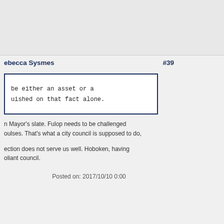Rebecca Sysmes  #39
be either an asset or a
uished on that fact alone.
n Mayor's slate. Fulop needs to be challenged
oulses. That's what a city council is supposed to do,
ection does not serve us well. Hoboken, having
oliant council.
Posted on: 2017/10/10 0:00